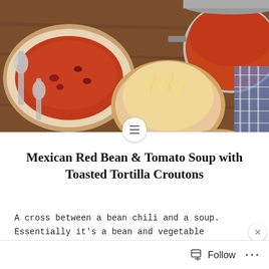[Figure (photo): Overhead view of bowls of Mexican red bean and tomato soup with toppings including shredded cheese, diced avocado, and sour cream on a wooden table with spoons and a large pot of soup]
Mexican Red Bean & Tomato Soup with Toasted Tortilla Croutons
A cross between a bean chili and a soup. Essentially it's a bean and vegetable chili but with the addition of stock
Advertisements
Search, browse, and email